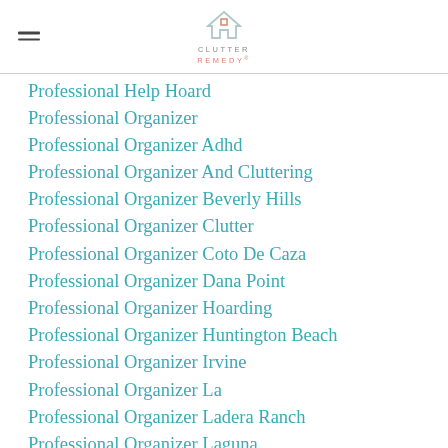Clutter Remedy - Navigation menu with logo
Professional Help Hoard
Professional Organizer
Professional Organizer Adhd
Professional Organizer And Cluttering
Professional Organizer Beverly Hills
Professional Organizer Clutter
Professional Organizer Coto De Caza
Professional Organizer Dana Point
Professional Organizer Hoarding
Professional Organizer Huntington Beach
Professional Organizer Irvine
Professional Organizer La
Professional Organizer Ladera Ranch
Professional Organizer Laguna
Professional Organizer Laguna Beach
Professional Organizer Lake Forest
Professional Organizer Long Beach